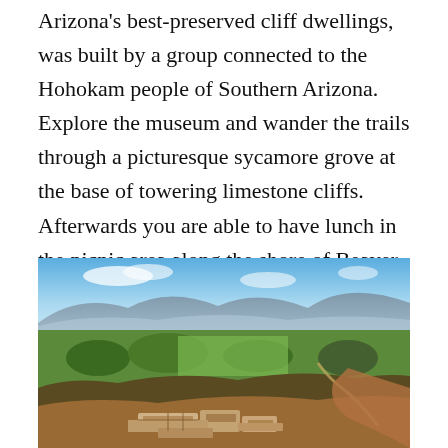Arizona's best-preserved cliff dwellings, was built by a group connected to the Hohokam people of Southern Arizona. Explore the museum and wander the trails through a picturesque sycamore grove at the base of towering limestone cliffs. Afterwards you are able to have lunch in the picnic area along the shore of Beaver Creek.
[Figure (photo): Aerial view of a green valley with trees and vegetation, ancient ruins in the foreground (stone foundations), mountains and blue sky in the background — Montezuma Castle/Hohokam archaeological site area in Arizona.]